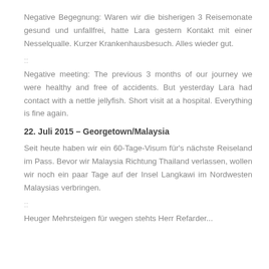Negative Begegnung: Waren wir die bisherigen 3 Reisemonate gesund und unfallfrei, hatte Lara gestern Kontakt mit einer Nesselqualle. Kurzer Krankenhausbesuch. Alles wieder gut.
::
Negative meeting: The previous 3 months of our journey we were healthy and free of accidents. But yesterday Lara had contact with a nettle jellyfish. Short visit at a hospital. Everything is fine again.
22. Juli 2015 – Georgetown/Malaysia
Seit heute haben wir ein 60-Tage-Visum für's nächste Reiseland im Pass. Bevor wir Malaysia Richtung Thailand verlassen, wollen wir noch ein paar Tage auf der Insel Langkawi im Nordwesten Malaysias verbringen.
::
Heuger Mehrsteigen für wegen stehts Herr Refarder...